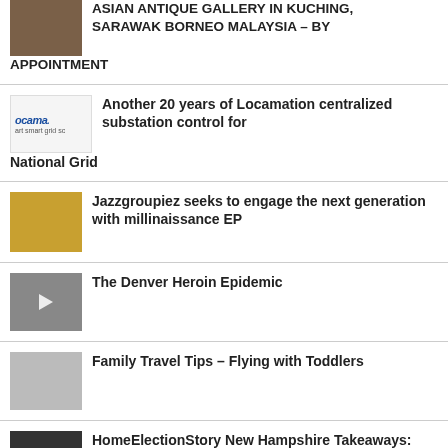ASIAN ANTIQUE GALLERY IN KUCHING, SARAWAK BORNEO MALAYSIA – BY APPOINTMENT
Another 20 years of Locamation centralized substation control for National Grid
Jazzgroupiez seeks to engage the next generation with millinaissance EP
The Denver Heroin Epidemic
Family Travel Tips – Flying with Toddlers
HomeElectionStory New Hampshire Takeaways: Donald Trump proves he's a winner